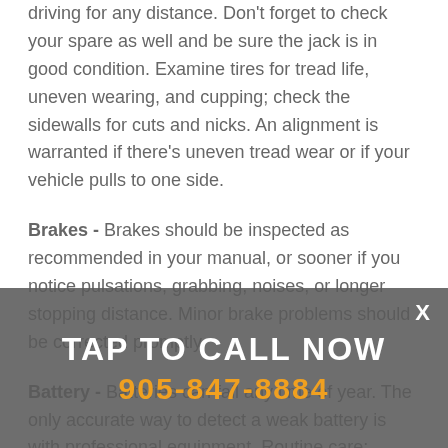driving for any distance. Don't forget to check your spare as well and be sure the jack is in good condition. Examine tires for tread life, uneven wearing, and cupping; check the sidewalls for cuts and nicks. An alignment is warranted if there's uneven tread wear or if your vehicle pulls to one side.
Brakes - Brakes should be inspected as recommended in your manual, or sooner if you notice pulsations, grabbing, noises, or longer stopping distance. Minor brake problems should be corrected promptly.
Battery - Batteries can fail any time of year. The only accurate way to detect a weak battery is with professional equipment. Routine care: Scrape away corrosion from posts and cable connections; clean all surfaces. If your car has removable caps are removable, check the fluid level monthly. Avoid contact with corrosive deposits and battery acid. Wear eye protection and rubber gloves.
TAP TO CALL NOW
905-847-8884